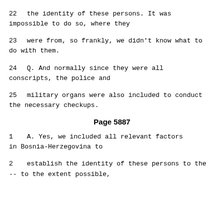22    the identity of these persons.  It was impossible to do so, where they
23    were from, so frankly, we didn't know what to do with them.
24       Q.   And normally since they were all conscripts, the police and
25    military organs were also included to conduct the necessary checkups.
Page 5887
1       A.   Yes, we included all relevant factors in Bosnia-Herzegovina to
2    establish the identity of these persons to the -- to the extent possible,